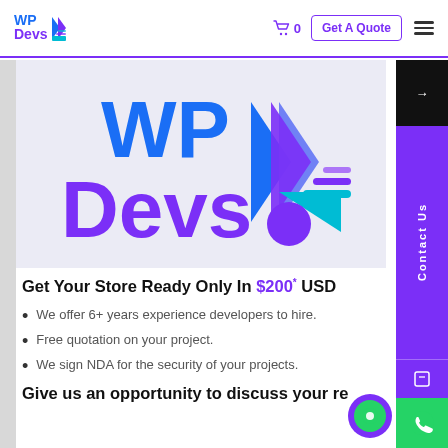WP Devs — navigation bar with cart (0), Get A Quote button, and hamburger menu
[Figure (logo): WPDevs logo — large stylized text 'WP' in blue and 'Devs' in purple with a blue double-chevron arrow, teal triangle accent, purple circle, and horizontal speed lines in teal and purple]
Get Your Store Ready Only In $200 * USD
We offer 6+ years experience developers to hire.
Free quotation on your project.
We sign NDA for the security of your projects.
Give us an opportunity to discuss your re…